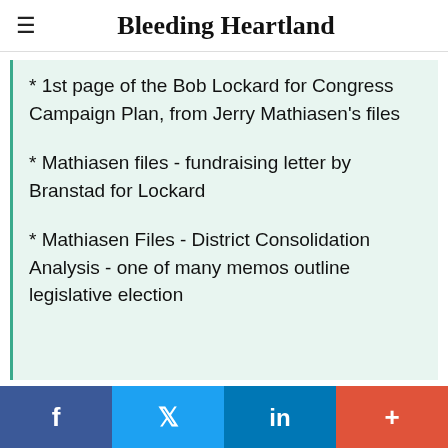Bleeding Heartland
* 1st page of the Bob Lockard for Congress Campaign Plan, from Jerry Mathiasen's files
* Mathiasen files - fundraising letter by Branstad for Lockard
* Mathiasen Files - District Consolidation Analysis - one of many memos outline legislative election
f  Twitter  in  +